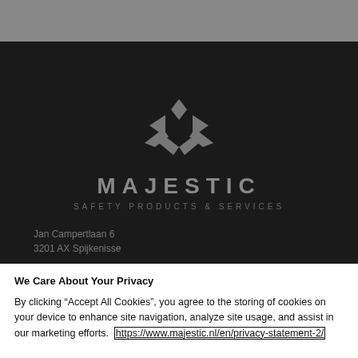[Figure (logo): Majestic Safety Products & Services logo with stylized M/crown icon in gray on dark background, with company name and tagline]
Jan Campertlaan 6
3201 AX Spijkenisse
We Care About Your Privacy
By clicking “Accept All Cookies”, you agree to the storing of cookies on your device to enhance site navigation, analyze site usage, and assist in our marketing efforts. https://www.majestic.nl/en/privacy-statement-2/